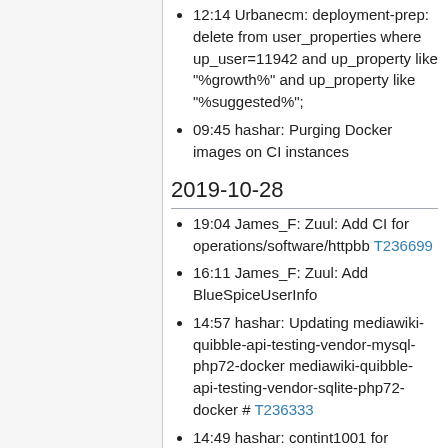12:14 Urbanecm: deployment-prep: delete from user_properties where up_user=11942 and up_property like "%growth%" and up_property like "%suggested%";
09:45 hashar: Purging Docker images on CI instances
2019-10-28
19:04 James_F: Zuul: Add CI for operations/software/httpbb T236699
16:11 James_F: Zuul: Add BlueSpiceUserInfo
14:57 hashar: Updating mediawiki-quibble-api-testing-vendor-mysql-php72-docker mediawiki-quibble-api-testing-vendor-sqlite-php72-docker # T236333
14:49 hashar: contint1001 for